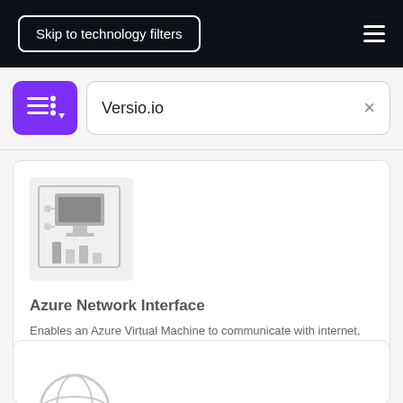Skip to technology filters
Versio.io
[Figure (screenshot): Azure Network Interface icon — gray box with monitor, connector, and bar chart elements]
Azure Network Interface
Enables an Azure Virtual Machine to communicate with internet, Azure and on-premises resources.
[Figure (illustration): Globe with chart/pulse icon — partial view at bottom of page]